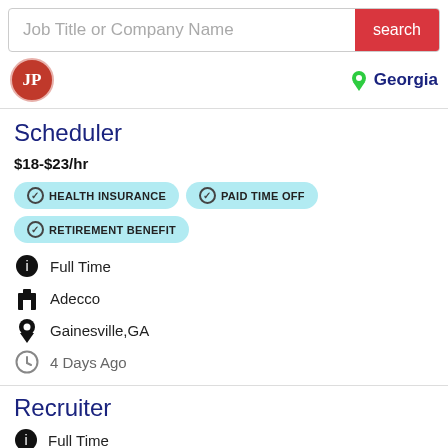Job Title or Company Name
search
[Figure (logo): JP logo circle in red]
Georgia
Scheduler
$18-$23/hr
HEALTH INSURANCE
PAID TIME OFF
RETIREMENT BENEFIT
Full Time
Adecco
Gainesville,GA
4 Days Ago
Recruiter
Full Time